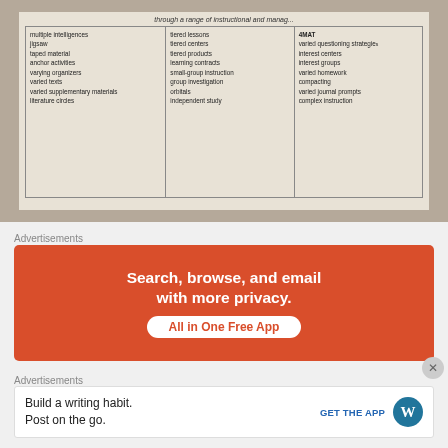[Figure (other): Photo of a printed diagram showing instructional strategies in three columns under the heading 'through a range of instructional and manag...'. Left column: multiple intelligences, jigsaw, taped material, anchor activities, varying organizers, varied texts, varied supplementary materials, literature circles. Middle column: tiered lessons, tiered centers, tiered products, learning contracts, small-group instruction, group investigation, orbitals, independent study. Right column (4MAT): varied questioning strategies, interest centers, interest groups, varied homework, compacting, varied journal prompts, complex instruction.]
Advertisements
[Figure (infographic): Orange advertisement banner reading 'Search, browse, and email with more privacy. All in One Free App']
Advertisements
[Figure (infographic): White advertisement for WordPress app reading 'Build a writing habit. Post on the go.' with GET THE APP button and WordPress logo]